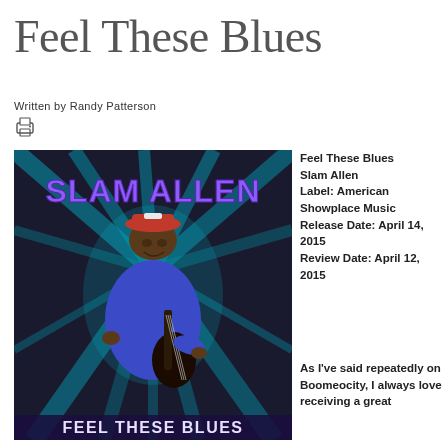Feel These Blues
Written by Randy Patterson
[Figure (illustration): Album cover for 'Feel These Blues' by Slam Allen. A man in a hat and suit playing electric guitar against a blue starburst background. Text reads 'SLAM ALLEN' in purple and 'FEEL THESE BLUES' at the bottom.]
Feel These Blues
Slam Allen
Label: American Showplace Music
Release Date: April 14, 2015
Review Date: April 12, 2015
As I've said repeatedly on Boomeocity, I always love receiving a great